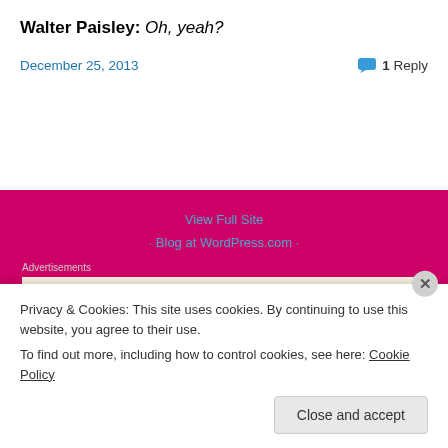Walter Paisley: Oh, yeah?
December 25, 2013
1 Reply
View Full Site
Blog at WordPress.com
Advertisements
[Figure (logo): WordPress logo (W in circle)]
Privacy & Cookies: This site uses cookies. By continuing to use this website, you agree to their use.
To find out more, including how to control cookies, see here: Cookie Policy
Close and accept